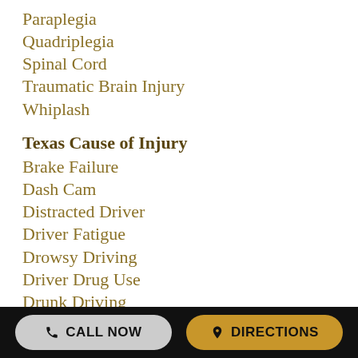Paraplegia
Quadriplegia
Spinal Cord
Traumatic Brain Injury
Whiplash
Texas Cause of Injury
Brake Failure
Dash Cam
Distracted Driver
Driver Fatigue
Drowsy Driving
Driver Drug Use
Drunk Driving
Falling Cargo
Headlight Defect
Highway Construction
Improper Maintenance
Lack of Inspection
CALL NOW   DIRECTIONS